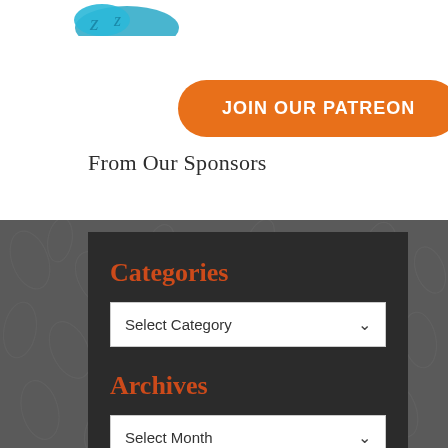[Figure (illustration): Partial blue illustrated graphic at top left corner]
JOIN OUR PATREON
From Our Sponsors
Categories
Select Category
Archives
Select Month